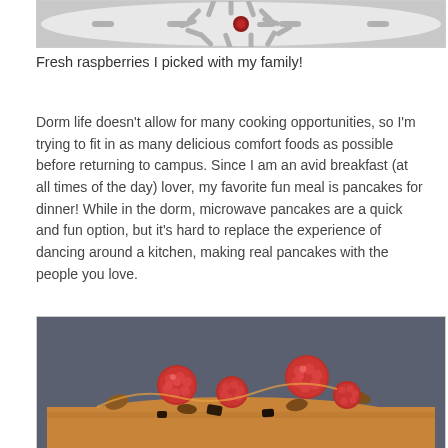[Figure (photo): Close-up photo of a white colander/strainer with pill-shaped holes and a single red raspberry in the center]
Fresh raspberries I picked with my family!
Dorm life doesn’t allow for many cooking opportunities, so I’m trying to fit in as many delicious comfort foods as possible before returning to campus. Since I am an avid breakfast (at all times of the day) lover, my favorite fun meal is pancakes for dinner! While in the dorm, microwave pancakes are a quick and fun option, but it's hard to replace the experience of dancing around a kitchen, making real pancakes with the people you love.
[Figure (photo): Close-up photo of fresh red raspberries and nuts/toppings on pancakes against a dark grey background]